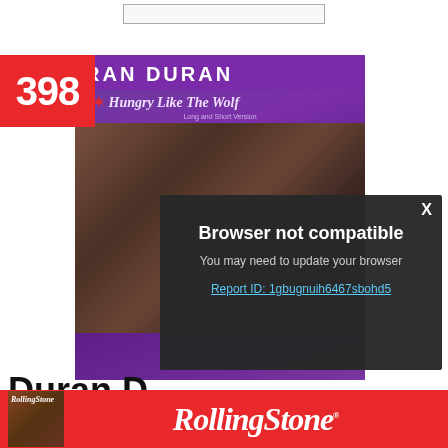[Figure (screenshot): Album cover for Duran Duran 'Hungry Like The Wolf' with number badge 398 in red, showing purple album art with band photo]
[Figure (screenshot): Browser dialog popup: 'Browser not compatible / You may need to update your browser / Report ID: 1gbugnuih6467sbohd5' with X close button]
Duran D
[Figure (logo): Rolling Stone magazine red banner with RollingStone logo in white italic serif font and magazine thumbnail]